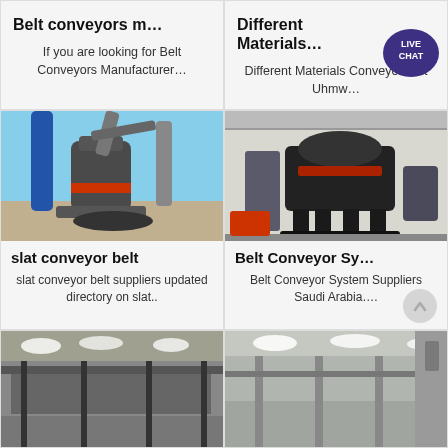Belt conveyors m…
If you are looking for Belt Conveyors Manufacturer…
Different Materials…
Different Materials Conveyor Belt Uhmw…
[Figure (photo): Industrial grinding mill machinery with pipes and cylindrical equipment outdoors]
slat conveyor belt
slat conveyor belt suppliers updated directory on slat..
[Figure (photo): Large industrial crusher or processing machine in a factory warehouse]
Belt Conveyor Sy…
Belt Conveyor System Suppliers Saudi Arabia….
[Figure (photo): Interior of industrial facility with conveyor systems, partial view]
[Figure (photo): Interior of large industrial warehouse or facility, partial view]